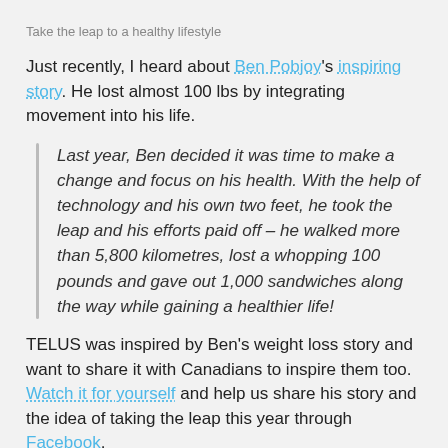Take the leap to a healthy lifestyle
Just recently, I heard about Ben Pobjoy's inspiring story. He lost almost 100 lbs by integrating movement into his life.
Last year, Ben decided it was time to make a change and focus on his health. With the help of technology and his own two feet, he took the leap and his efforts paid off – he walked more than 5,800 kilometres, lost a whopping 100 pounds and gave out 1,000 sandwiches along the way while gaining a healthier life!
TELUS was inspired by Ben's weight loss story and want to share it with Canadians to inspire them too. Watch it for yourself and help us share his story and the idea of taking the leap this year through Facebook.